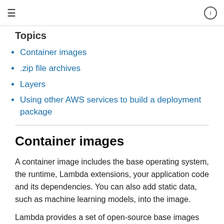≡  ⓘ
Topics
Container images
.zip file archives
Layers
Using other AWS services to build a deployment package
Container images
A container image includes the base operating system, the runtime, Lambda extensions, your application code and its dependencies. You can also add static data, such as machine learning models, into the image.
Lambda provides a set of open-source base images that